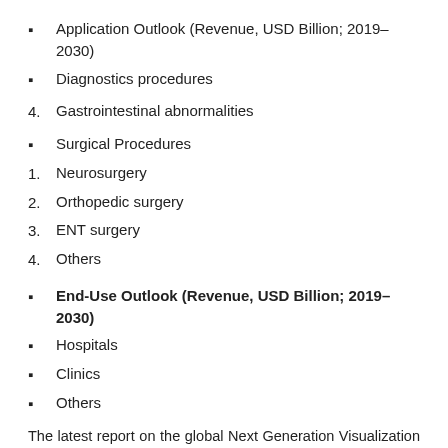Application Outlook (Revenue, USD Billion; 2019–2030)
Diagnostics procedures
4. Gastrointestinal abnormalities
Surgical Procedures
1. Neurosurgery
2. Orthopedic surgery
3. ENT surgery
4. Others
End-Use Outlook (Revenue, USD Billion; 2019–2030)
Hospitals
Clinics
Others
The latest report on the global Next Generation Visualization and Navigation Systems market offers strategic insights into the market landscape to stakeholders, investors, and business owners to help them make efficient and lucrative business decisions based on key statistical